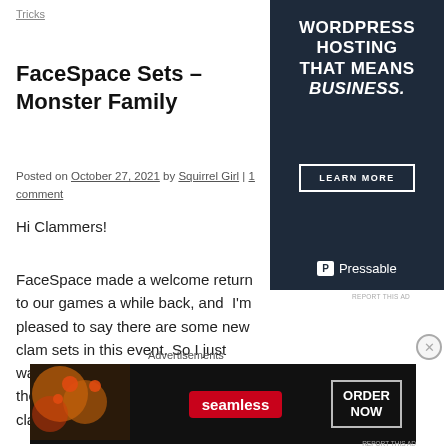Tricks
FaceSpace Sets – Monster Family
Posted on October 27, 2021 by Squirrel Girl | 1 comment
Hi Clammers!
FaceSpace made a welcome return to our games a while back, and I'm pleased to say there are some new clam sets in this event. So I just wanted remind you about these as they can be a nice source of bonus clams. If you want to know what's
[Figure (infographic): Pressable WordPress hosting advertisement with dark navy background, headline 'WORDPRESS HOSTING THAT MEANS BUSINESS.', a LEARN MORE button, and Pressable logo at bottom.]
REPORT THIS AD
Advertisements
[Figure (infographic): Seamless food ordering advertisement with pizza image on dark background, Seamless red logo badge, and ORDER NOW button.]